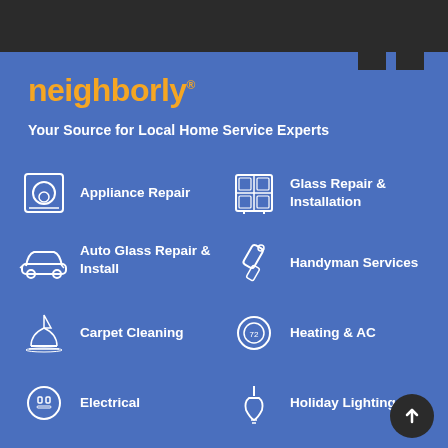neighborly
Your Source for Local Home Service Experts
Appliance Repair
Glass Repair & Installation
Auto Glass Repair & Install
Handyman Services
Carpet Cleaning
Heating & AC
Electrical
Holiday Lighting